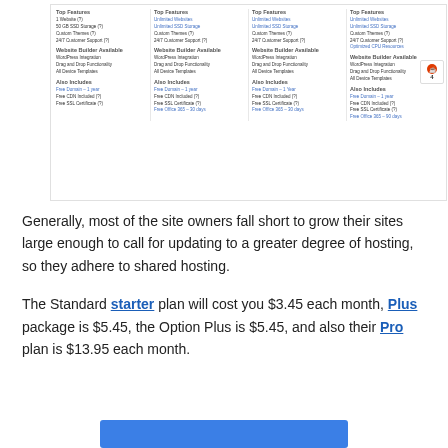[Figure (screenshot): Screenshot of a hosting plan comparison table showing four columns with Top Features, Website Builder Available, and Also Includes sections for each plan.]
Generally, most of the site owners fall short to grow their sites large enough to call for updating to a greater degree of hosting, so they adhere to shared hosting.
The Standard starter plan will cost you $3.45 each month, Plus package is $5.45, the Option Plus is $5.45, and also their Pro plan is $13.95 each month.